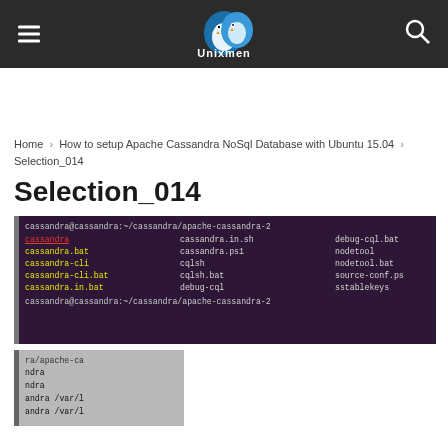Unixmen - Linux/Unix news and reviews
Home › How to setup Apache Cassandra NoSql Database with Ubuntu 15.04 › Selection_014
Selection_014
[Figure (screenshot): Terminal screenshot showing cassandra bin directory listing on dark purple background with files: cassandra (red underlined), cassandra.bat, cassandra-cli, cassandra-cli.bat, cassandra.in.bat, cassandra.in.sh, cassandra.ps1, cqlsh, cqlsh.bat, debug-cql, debug-cql.bat, nodetool, nodetool.bat, source-conf.ps, sstablekeys]
[Figure (screenshot): Partial terminal screenshot on grey background showing truncated command lines with apache-ca, ndra, ndra, andra /var/l, andra /var/l]